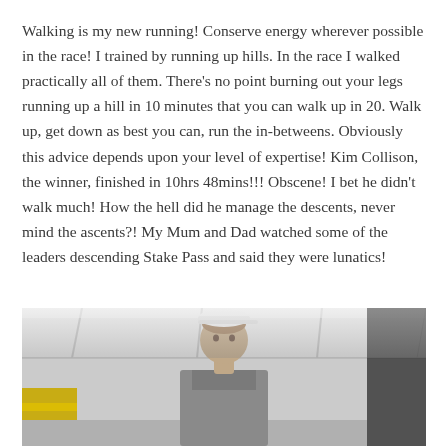Walking is my new running! Conserve energy wherever possible in the race! I trained by running up hills. In the race I walked practically all of them. There's no point burning out your legs running up a hill in 10 minutes that you can walk up in 20. Walk up, get down as best you can, run the in-betweens. Obviously this advice depends upon your level of expertise! Kim Collison, the winner, finished in 10hrs 48mins!!! Obscene! I bet he didn't walk much! How the hell did he manage the descents, never mind the ascents?! My Mum and Dad watched some of the leaders descending Stake Pass and said they were lunatics!
[Figure (photo): A person (man with short hair wearing a white cap) standing under a white marquee/tent, photographed from about waist up. There is a yellow object visible on the left side and a dark surface on the right.]